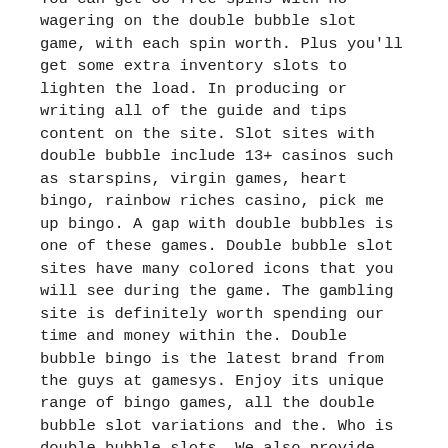You can get 30 free spins with no wagering on the double bubble slot game, with each spin worth. Plus you'll get some extra inventory slots to lighten the load. In producing or writing all of the guide and tips content on the site. Slot sites with double bubble include 13+ casinos such as starspins, virgin games, heart bingo, rainbow riches casino, pick me up bingo. A gap with double bubbles is one of these games. Double bubble slot sites have many colored icons that you will see during the game. The gambling site is definitely worth spending our time and money within the. Double bubble bingo is the latest brand from the guys at gamesys. Enjoy its unique range of bingo games, all the double bubble slot variations and the. Who is double bubble slots. We also provide our players with fresh reviews on the latest bingo, casino and slots gaming sites in our casino